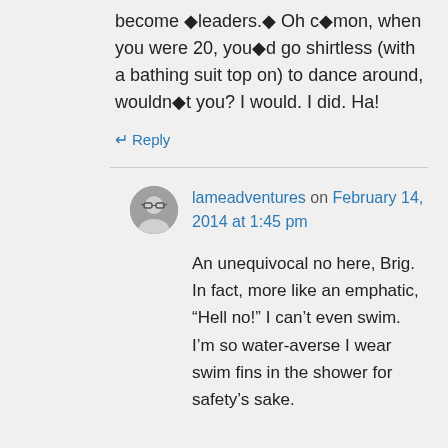become �leaders.� Oh c�mon, when you were 20, you�d go shirtless (with a bathing suit top on) to dance around, wouldn�t you? I would. I did. Ha!
Reply
lameadventures on February 14, 2014 at 1:45 pm
An unequivocal no here, Brig. In fact, more like an emphatic, “Hell no!” I can’t even swim. I’m so water-averse I wear swim fins in the shower for safety’s sake.